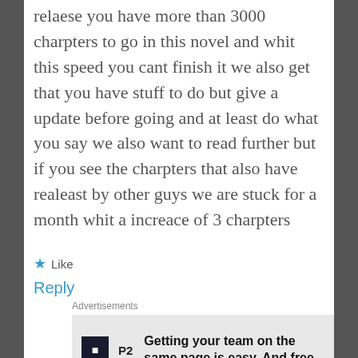relaese you have more than 3000 charpters to go in this novel and whit this speed you cant finish it we also get that you have stuff to do but give a update before going and at least do what you say we also want to read further but if you see the charpters that also have realeast by other guys we are stuck for a month whit a increace of 3 charpters
★ Like
Reply
Advertisements
[Figure (other): Advertisement for P2: Getting your team on the same page is easy. And free.]
REPORT THIS AD
/BR/